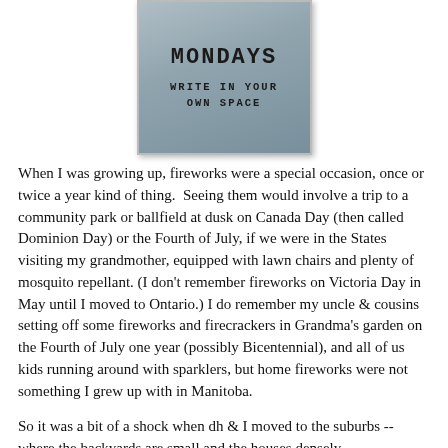[Figure (illustration): Book cover with grey/blue gradient background showing title 'MONDAYS' and subtitle 'WRITE IN YOUR OWN SPACE' in bold monospace font]
When I was growing up, fireworks were a special occasion, once or twice a year kind of thing.  Seeing them would involve a trip to a community park or ballfield at dusk on Canada Day (then called Dominion Day) or the Fourth of July, if we were in the States visiting my grandmother, equipped with lawn chairs and plenty of mosquito repellant. (I don't remember fireworks on Victoria Day in May until I moved to Ontario.) I do remember my uncle & cousins setting off some fireworks and firecrackers in Grandma's garden on the Fourth of July one year (possibly Bicentennial), and all of us kids running around with sparklers, but home fireworks were not something I grew up with in Manitoba.
So it was a bit of a shock when dh & I moved to the suburbs -- where the backyards are small and the houses densely